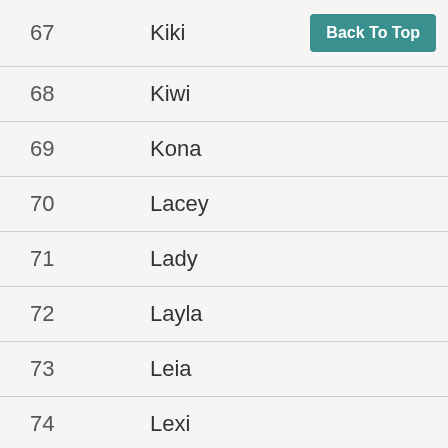| # | Name |  |
| --- | --- | --- |
| 67 | Kiki | Back To Top |
| 68 | Kiwi |  |
| 69 | Kona |  |
| 70 | Lacey |  |
| 71 | Lady |  |
| 72 | Layla |  |
| 73 | Leia |  |
| 74 | Lexi |  |
| 75 | Lilly |  |